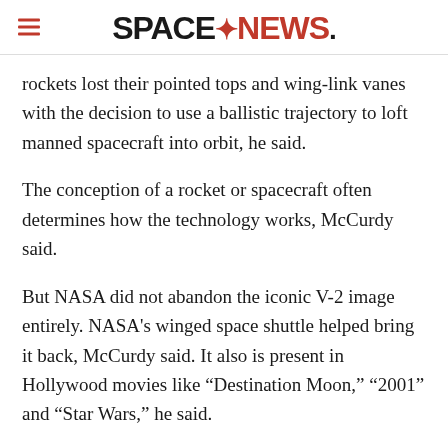SPACENEWS
rockets lost their pointed tops and wing-link vanes with the decision to use a ballistic trajectory to loft manned spacecraft into orbit, he said.
The conception of a rocket or spacecraft often determines how the technology works, McCurdy said.
But NASA did not abandon the iconic V-2 image entirely. NASA’s winged space shuttle helped bring it back, McCurdy said. It also is present in Hollywood movies like “Destination Moon,” “2001” and “Star Wars,” he said.
While NASA will retire the space shuttle in 2010 in favor of a ballistic design for the Orion Crew Exploration Vehicle and Ares 1 rocket, commercial